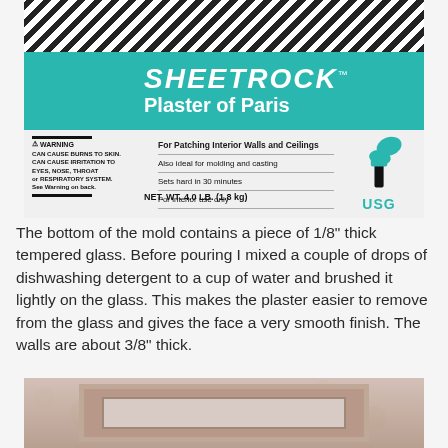[Figure (photo): Box of Sheetrock Plaster of Paris by USG. Box shows brand name SHEETROCK in teal band, product name Plaster of Paris, features: For Patching Interior Walls and Ceilings, Also ideal for molding and casting, Sets hard in 30 minutes, For interior use only. Warning label on left. NET WT. 4.0 LB. (1.8 kg). Teal brush graphic on right.]
The bottom of the mold contains a piece of 1/8" thick tempered glass. Before pouring I mixed a couple of drops of dishwashing detergent to a cup of water and brushed it lightly on the glass. This makes the plaster easier to remove from the glass and gives the face a very smooth finish. The walls are about 3/8" thick.
[Figure (photo): A wooden mold frame photographed from above on a floral wallpaper background. The mold is rectangular with a wooden border and a lighter colored interior surface.]